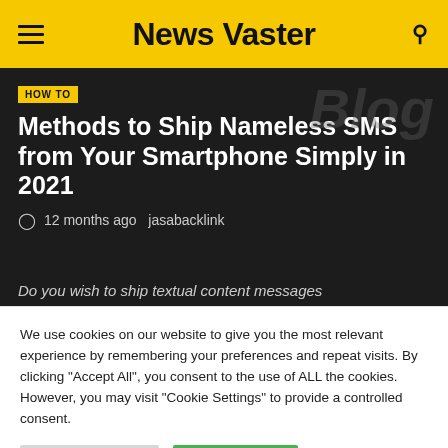News Vaster
HOW TO
Methods to Ship Nameless SMS from Your Smartphone Simply in 2021
12 months ago  jasabacklink
Do you wish to ship textual content messages
We use cookies on our website to give you the most relevant experience by remembering your preferences and repeat visits. By clicking "Accept All", you consent to the use of ALL the cookies. However, you may visit "Cookie Settings" to provide a controlled consent.
Cookie Settings | Accept All